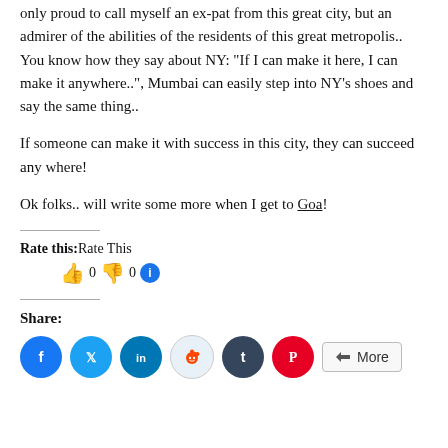only proud to call myself an ex-pat from this great city, but an admirer of the abilities of the residents of this great metropolis.. You know how they say about NY: “If I can make it here, I can make it anywhere..”, Mumbai can easily step into NY’s shoes and say the same thing..
If someone can make it with success in this city, they can succeed any where!
Ok folks.. will write some more when I get to Goa!
Rate this: Rate This  👍 0  👎 0  ℹ
Share: Facebook Twitter LinkedIn Reddit Tumblr Pinterest More